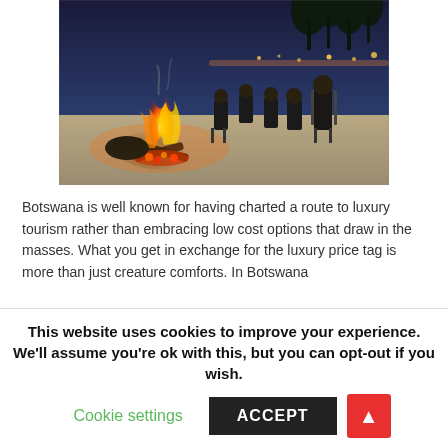[Figure (photo): Group of people sitting around a campfire on sandy ground at dusk/night, with lights and trees in the background. Safari-style camp setting in Botswana.]
Botswana is well known for having charted a route to luxury tourism rather than embracing low cost options that draw in the masses. What you get in exchange for the luxury price tag is more than just creature comforts. In Botswana
This website uses cookies to improve your experience. We'll assume you're ok with this, but you can opt-out if you wish.
Cookie settings
ACCEPT